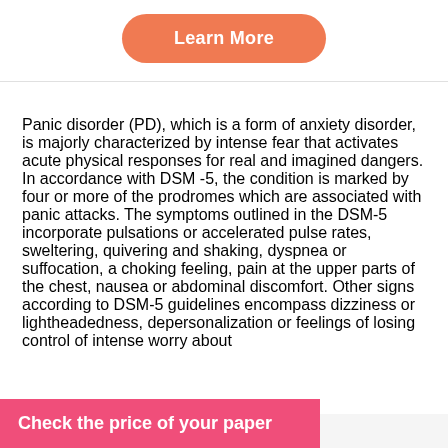[Figure (other): Orange rounded button labeled 'Learn More']
Panic disorder (PD), which is a form of anxiety disorder, is majorly characterized by intense fear that activates acute physical responses for real and imagined dangers. In accordance with DSM -5, the condition is marked by four or more of the prodromes which are associated with panic attacks. The symptoms outlined in the DSM-5 incorporate pulsations or accelerated pulse rates, sweltering, quivering and shaking, dyspnea or suffocation, a choking feeling, pain at the upper parts of the chest, nausea or abdominal discomfort. Other signs according to DSM-5 guidelines encompass dizziness or lightheadedness, depersonalization or feelings of losing control of intense worry about
[Figure (other): Pink/hot-pink banner at the bottom reading 'Check the price of your paper']